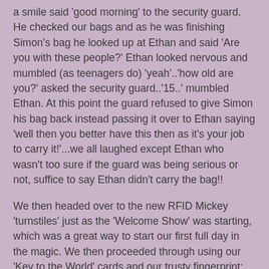a smile said 'good morning' to the security guard.  He checked our bags and as he was finishing Simon's bag he looked up at Ethan and said 'Are you with these people?'  Ethan looked nervous and mumbled (as teenagers do) 'yeah'..'how old are you?' asked the security guard..'15..' mumbled Ethan.  At this point the guard refused to give Simon his bag back instead passing it over to Ethan saying 'well then you better have this then as it's your job to carry it!'...we all laughed except Ethan who wasn't too sure if the guard was being serious or not, suffice to say Ethan didn't carry the bag!!
We then headed over to the new RFID Mickey 'turnstiles' just as the 'Welcome Show' was starting, which was a great way to start our first full day in the magic.  We then proceeded through using our 'Key to the World' cards and our trusty fingerprint; this was so much easier than the old turnstiles and made the whole getting into the park much smoother.
Now, the plan had been to get our Photopass+ sorted and then follow the Touring Plans guide for the day...but we got a little sidetracked.  Simon saw the signage for 'Sorcerers of